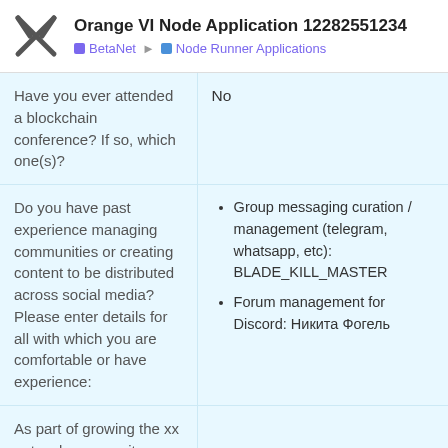Orange VI Node Application 12282551234
BetaNet  Node Runner Applications
| Question | Answer |
| --- | --- |
| Have you ever attended a blockchain conference? If so, which one(s)? | No |
| Do you have past experience managing communities or creating content to be distributed across social media? Please enter details for all with which you are comfortable or have experience: | Group messaging curation / management (telegram, whatsapp, etc): BLADE_KILL_MASTER
Forum management for Discord: Никита Фогель |
| As part of growing the xx network community, are you willing to create content as part of operating an xx network BetaNet node? |  |
1 / 3